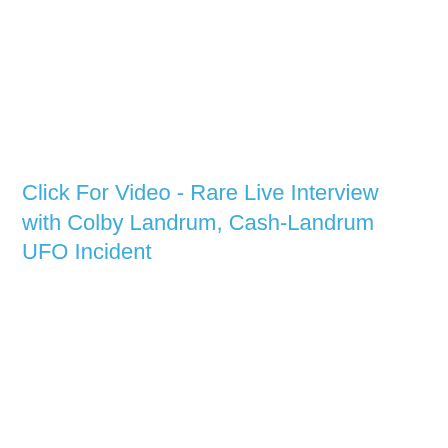Click For Video - Rare Live Interview with Colby Landrum, Cash-Landrum UFO Incident